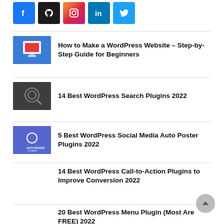[Figure (illustration): Row of social media icons: Facebook (blue), GitHub (black), Instagram (gradient), LinkedIn (blue), Twitter (blue)]
How to Make a WordPress Website – Step-by-Step Guide for Beginners
14 Best WordPress Search Plugins 2022
5 Best WordPress Social Media Auto Poster Plugins 2022
14 Best WordPress Call-to-Action Plugins to Improve Conversion 2022
20 Best WordPress Menu Plugins (Most Are FREE) 2022